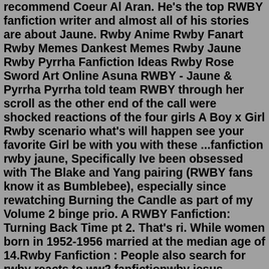recommend Coeur Al Aran. He's the top RWBY fanfiction writer and almost all of his stories are about Jaune. Rwby Anime Rwby Fanart Rwby Memes Dankest Memes Rwby Jaune Rwby Pyrrha Fanfiction Ideas Rwby Rose Sword Art Online Asuna RWBY - Jaune & Pyrrha Pyrrha told team RWBY through her scroll as the other end of the call were shocked reactions of the four girls A Boy x Girl Rwby scenario what's will happen see your favorite Girl be with you with these ...fanfiction rwby jaune, Specifically Ive been obsessed with The Blake and Yang pairing (RWBY fans know it as Bumblebee), especially since rewatching Burning the Candle as part of my Volume 2 binge prio. A RWBY Fanfiction: Turning Back Time pt 2. That's ri. While women born in 1952-1956 married at the median age of 14.Rwby Fanfiction : People also search for rwby reacts to ww2 fanfictionwby jesus fanfiction rwby fanfiction earth soldier rwby blake brother fanfiction rwby in real life fanfiction rwby fanfiction military. org or any of its owners, agents, or related entities. Com 13560+ Best